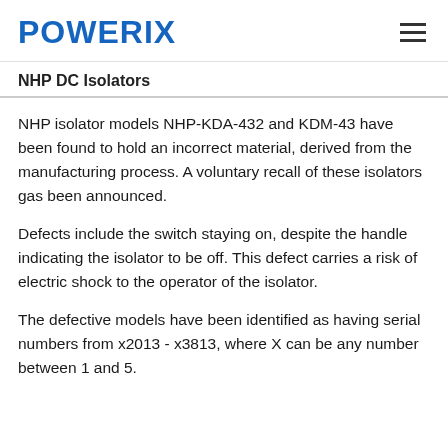POWERIX
NHP DC Isolators
NHP isolator models NHP-KDA-432 and KDM-43 have been found to hold an incorrect material, derived from the manufacturing process. A voluntary recall of these isolators gas been announced.
Defects include the switch staying on, despite the handle indicating the isolator to be off. This defect carries a risk of electric shock to the operator of the isolator.
The defective models have been identified as having serial numbers from x2013 - x3813, where X can be any number between 1 and 5.